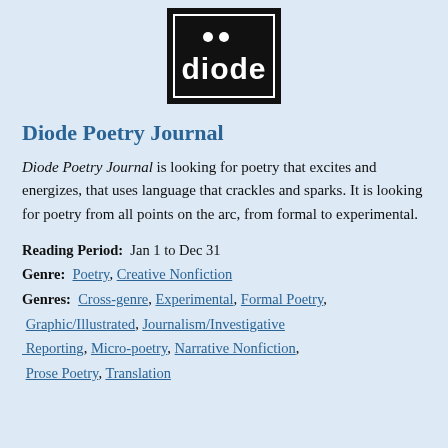[Figure (logo): Diode journal logo: black square with white text reading 'diode' and two white dots above]
Diode Poetry Journal
Diode Poetry Journal is looking for poetry that excites and energizes, that uses language that crackles and sparks. It is looking for poetry from all points on the arc, from formal to experimental.
Reading Period: Jan 1 to Dec 31
Genre: Poetry, Creative Nonfiction
Genres: Cross-genre, Experimental, Formal Poetry, Graphic/Illustrated, Journalism/Investigative Reporting, Micro-poetry, Narrative Nonfiction, Prose Poetry, Translation